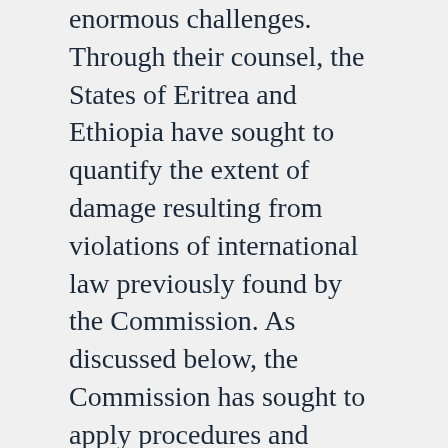enormous challenges. Through their counsel, the States of Eritrea and Ethiopia have sought to quantify the extent of damage resulting from violations of international law previously found by the Commission. As discussed below, the Commission has sought to apply procedures and standards of evidence that take account of the challenges facing both Parties. Nevertheless, these are legal proceedings. The Commission's findings must rest on evidence. As the Commission has